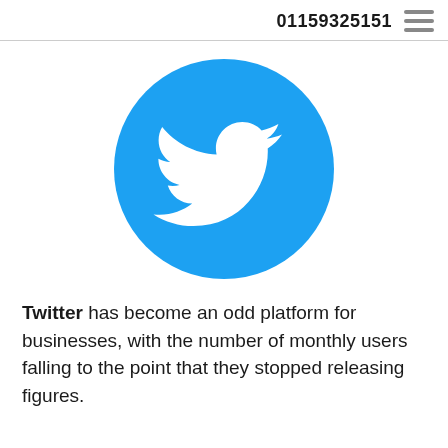01159325151
[Figure (logo): Twitter logo: white bird silhouette on a circular sky-blue background]
Twitter has become an odd platform for businesses, with the number of monthly users falling to the point that they stopped releasing figures.